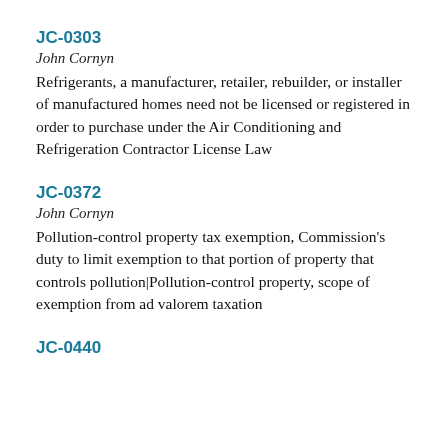JC-0303
John Cornyn
Refrigerants, a manufacturer, retailer, rebuilder, or installer of manufactured homes need not be licensed or registered in order to purchase under the Air Conditioning and Refrigeration Contractor License Law
JC-0372
John Cornyn
Pollution-control property tax exemption, Commission's duty to limit exemption to that portion of property that controls pollution|Pollution-control property, scope of exemption from ad valorem taxation
JC-0440